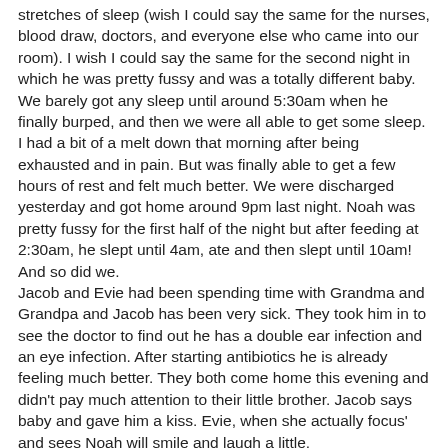stretches of sleep (wish I could say the same for the nurses, blood draw, doctors, and everyone else who came into our room). I wish I could say the same for the second night in which he was pretty fussy and was a totally different baby. We barely got any sleep until around 5:30am when he finally burped, and then we were all able to get some sleep. I had a bit of a melt down that morning after being exhausted and in pain. But was finally able to get a few hours of rest and felt much better. We were discharged yesterday and got home around 9pm last night. Noah was pretty fussy for the first half of the night but after feeding at 2:30am, he slept until 4am, ate and then slept until 10am! And so did we.
Jacob and Evie had been spending time with Grandma and Grandpa and Jacob has been very sick. They took him in to see the doctor to find out he has a double ear infection and an eye infection. After starting antibiotics he is already feeling much better. They both come home this evening and didn't pay much attention to their little brother. Jacob says baby and gave him a kiss. Evie, when she actually focus' and sees Noah will smile and laugh a little.
I am doing well, as well as can be expected. I am having